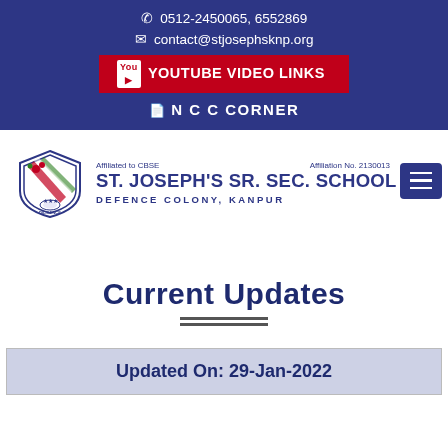0512-2450065, 6552869
contact@stjosephsknp.org
YOUTUBE VIDEO LINKS
N C C CORNER
[Figure (logo): St. Joseph's Sr. Sec. School crest/logo with shield design]
Affiliated to CBSE
Affiliation No. 2130013
ST. JOSEPH'S SR. SEC. SCHOOL
DEFENCE COLONY, KANPUR
Current Updates
Updated On: 29-Jan-2022